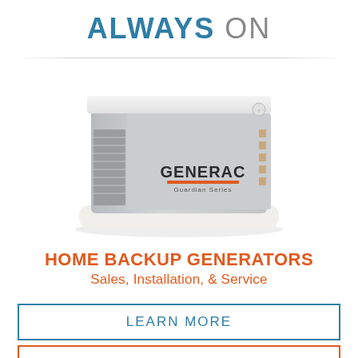ALWAYS ON
[Figure (photo): Generac Guardian Series home backup generator unit, gray metal enclosure with white base and orange GENERAC logo on the front panel]
HOME BACKUP GENERATORS
Sales, Installation, & Service
LEARN MORE